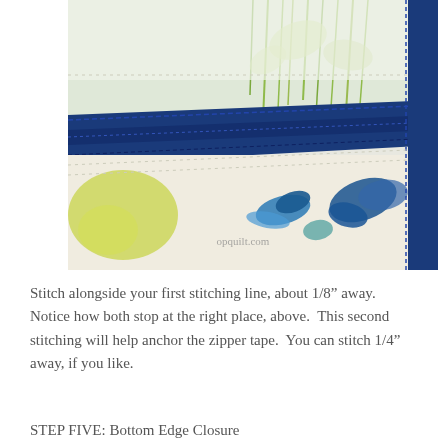[Figure (photo): Close-up photo of a zipper being sewn onto floral fabric. The fabric has green and blue botanical/butterfly print on white background. A navy blue zipper tape runs diagonally across the image. Stitching lines are visible along the zipper edge. Watermark reads opquilt.com.]
Stitch alongside your first stitching line, about 1/8” away.  Notice how both stop at the right place, above.  This second stitching will help anchor the zipper tape.  You can stitch 1/4” away, if you like.
STEP FIVE: Bottom Edge Closure